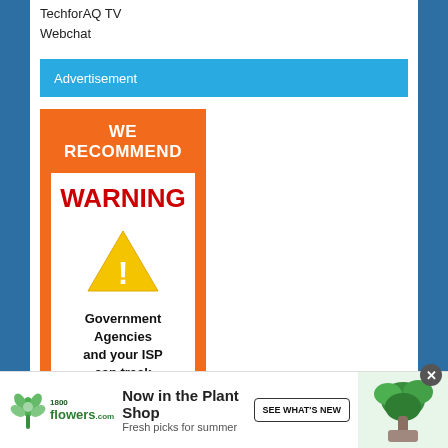TechforAQ TV
Webchat
Advertisement
[Figure (infographic): Orange-bordered ad with 'WE RECOMMEND' header, WARNING text in red, yellow warning triangle with exclamation mark, and text 'Government Agencies and your ISP can track']
[Figure (infographic): 1-800-flowers.com banner ad: 'Now in the Plant Shop, Fresh picks for summer' with plant photo and 'SEE WHAT'S NEW' button]